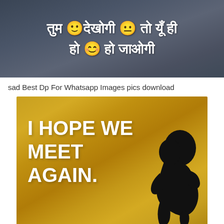[Figure (photo): Dark grey/blue toned image with white Hindi text reading 'तुम 🙂 देखोगी 😐 तो यूँ ही हो 😊 हो जाओगी' with emoji faces embedded in the text]
sad Best Dp For Whatsapp Images pics download
[Figure (photo): Golden/yellow background image with white bold text reading 'I HOPE WE MEET AGAIN.' and a dark silhouette of a person hunched over on the right side]